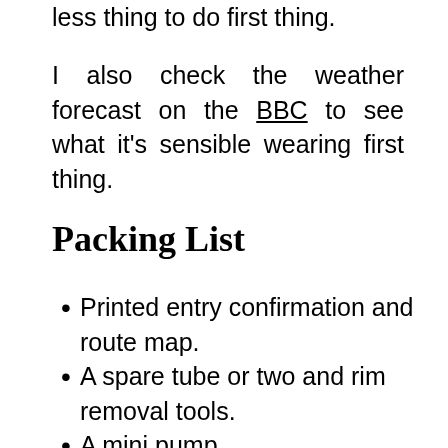less thing to do first thing.
I also check the weather forecast on the BBC to see what it's sensible wearing first thing.
Packing List
Printed entry confirmation and route map.
A spare tube or two and rim removal tools.
A mini pump.
Waterproofs that are small enough that you can carry them with you.  Legs are